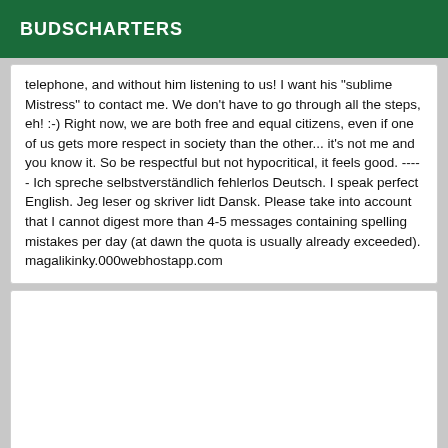BUDSCHARTERS
telephone, and without him listening to us! I want his "sublime Mistress" to contact me. We don't have to go through all the steps, eh! :-) Right now, we are both free and equal citizens, even if one of us gets more respect in society than the other... it's not me and you know it. So be respectful but not hypocritical, it feels good. ----- Ich spreche selbstverständlich fehlerlos Deutsch. I speak perfect English. Jeg leser og skriver lidt Dansk. Please take into account that I cannot digest more than 4-5 messages containing spelling mistakes per day (at dawn the quota is usually already exceeded). magalikinky.000webhostapp.com